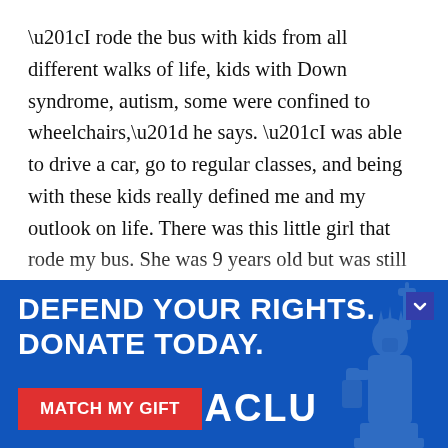“I rode the bus with kids from all different walks of life, kids with Down syndrome, autism, some were confined to wheelchairs,” he says. “I was able to drive a car, go to regular classes, and being with these kids really defined me and my outlook on life. There was this little girl that rode my bus. She was 9 years old but was still a baby physically in size, and I remember she passed away during the time I rode the bus with her. I remember going to her funeral. It was so sad to see that small little casket. I basically touch on that a little bit in the song, when I say ‘I hope they’re looking down, I know that they’d be
[Figure (infographic): ACLU advertisement banner with blue background. Headline text: DEFEND YOUR RIGHTS. DONATE TODAY. Red button: MATCH MY GIFT. ACLU logo in white. Statue of Liberty silhouette on right side. Chevron/close icon top right.]